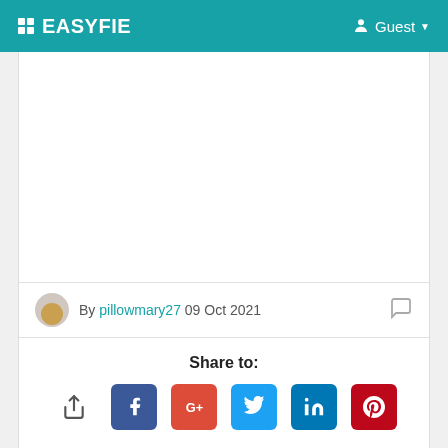EASYFIE  Guest
[Figure (other): Empty white image area (article image placeholder)]
By pillowmary27 09 Oct 2021
Share to:
[Figure (infographic): Social share icons: native share, Facebook, Google+, Twitter, LinkedIn, Pinterest]
These companies usually have good standings